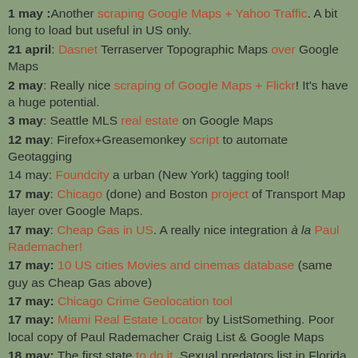1 may :Another scraping Google Maps + Yahoo Traffic. A bit long to load but useful in US only.
21 april: Dasnet Terraserver Topographic Maps over Google Maps
2 may: Really nice scraping of Google Maps + Flickr! It's have a huge potential.
3 may: Seattle MLS real estate on Google Maps
12 may: Firefox+Greasemonkey script to automate Geotagging
14 may: Foundcity a urban (New York) tagging tool!
17 may: Chicago (done) and Boston project of Transport Map layer over Google Maps.
17 may: Cheap Gas in US. A really nice integration à la Paul Rademacher!
17 may: 10 US cities Movies and cinemas database (same guy as Cheap Gas above)
17 may: Chicago Crime Geolocation tool
17 may: Miami Real Estate Locator by ListSomething. Poor local copy of Paul Rademacher Craig List & Google Maps
18 may: The first state to do it. Sexual predators list in Florida.
19 may : Seem to be OK to hack Google Maps. The good